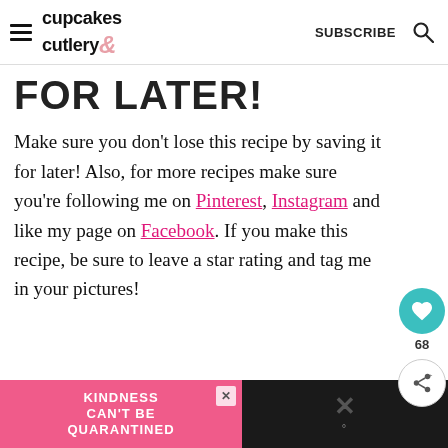cupcakes & cutlery — SUBSCRIBE
FOR LATER!
Make sure you don't lose this recipe by saving it for later! Also, for more recipes make sure you're following me on Pinterest, Instagram and like my page on Facebook. If you make this recipe, be sure to leave a star rating and tag me in your pictures!
[Figure (infographic): Floating heart/save button (teal circle with white heart, count 68) and share button]
[Figure (infographic): Advertisement banner: pink section with 'KINDNESS CAN'T BE QUARANTINED' text and close button; dark section with X and temperature icon]